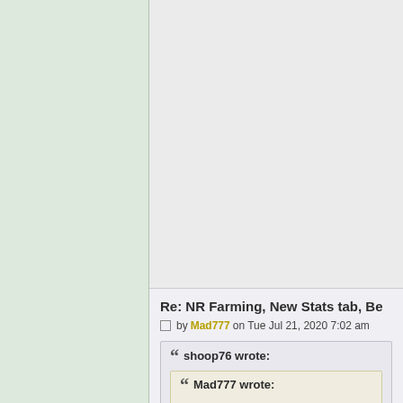Re: NR Farming, New Stats tab, Be
by Mad777 on Tue Jul 21, 2020 7:02 am
shoop76 wrote:
Mad777 wrote: